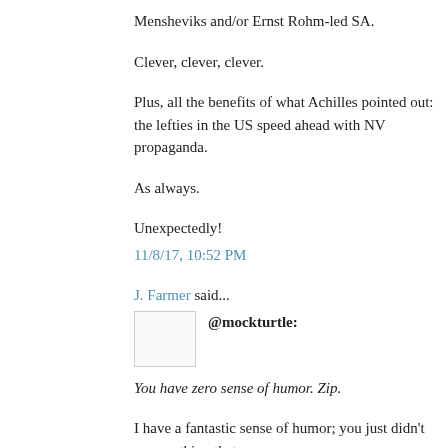Mensheviks and/or Ernst Rohm-led SA.
Clever, clever, clever.
Plus, all the benefits of what Achilles pointed out: the lefties in the US speed ahead with NV propaganda.
As always.
Unexpectedly!
11/8/17, 10:52 PM
J. Farmer said...
@mockturtle:
You have zero sense of humor. Zip.
I have a fantastic sense of humor; you just didn't say anything that was
@Achilles...